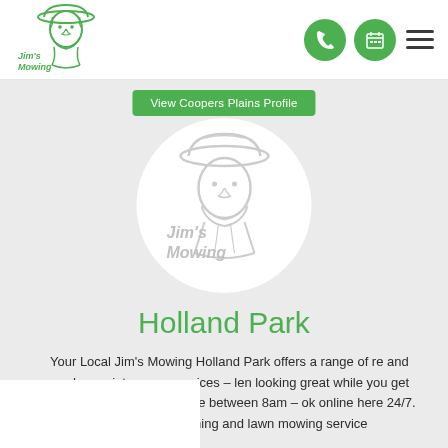[Figure (logo): Jim's Mowing logo with illustration of a man in a hat]
[Figure (illustration): Navigation icons: phone icon in green circle, calendar icon in green circle, hamburger menu]
View Coopers Plains Profile
[Figure (illustration): Jim's Mowing circular profile placeholder image with grey Jim's Mowing logo illustration]
Holland Park
Your Local Jim's Mowing Holland Park offers a range of re and garden maintenance services – len looking great while you get your t call 131 546 anytime between 8am – ok online here 24/7. Jim's Holland Park gardening and lawn mowing service